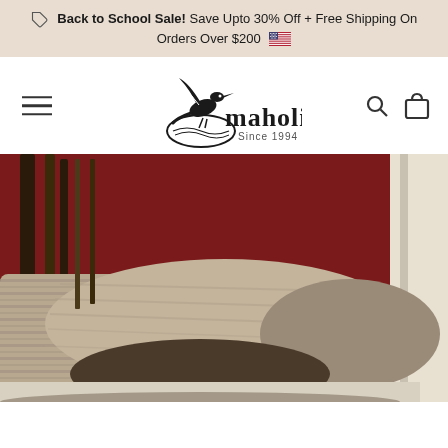Back to School Sale! Save Upto 30% Off + Free Shipping On Orders Over $200
[Figure (logo): Maholi brand logo with flying bird over a globe, text 'maholi. Since 1994']
[Figure (photo): Close-up photo of a luxurious striped bedding set with pillows against a dark red wall with a wooden headboard]